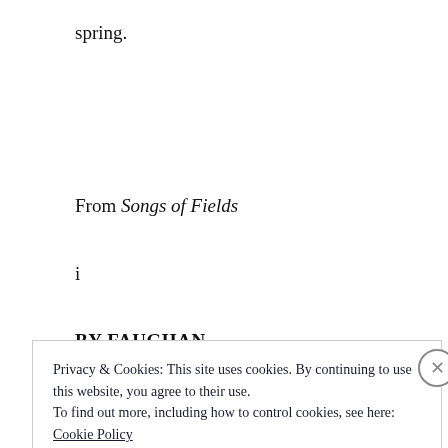spring.
From Songs of Fields
i
BY FAUGHAN
Privacy & Cookies: This site uses cookies. By continuing to use this website, you agree to their use.
To find out more, including how to control cookies, see here:
Cookie Policy
Close and accept